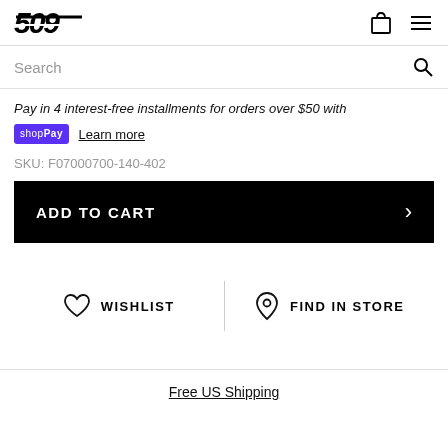[Figure (logo): 509 brand logo in bold italic black text]
Search
Pay in 4 interest-free installments for orders over $50 with shop Pay Learn more
SKU: F07000700-140-402
ADD TO CART
WISHLIST
FIND IN STORE
Free US Shipping